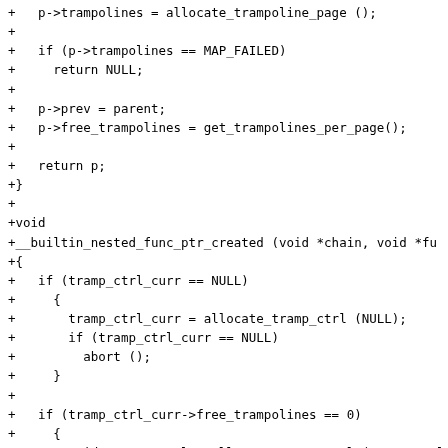+   p->trampolines = allocate_trampoline_page ();
+
+   if (p->trampolines == MAP_FAILED)
+     return NULL;
+
+   p->prev = parent;
+   p->free_trampolines = get_trampolines_per_page();
+
+   return p;
+}
+
+void
+__builtin_nested_func_ptr_created (void *chain, void *fu
+{
+   if (tramp_ctrl_curr == NULL)
+     {
+       tramp_ctrl_curr = allocate_tramp_ctrl (NULL);
+       if (tramp_ctrl_curr == NULL)
+         abort ();
+     }
+
+   if (tramp_ctrl_curr->free_trampolines == 0)
+     {
+       void *tramp_ctrl = allocate_tramp_ctrl (tramp_ctrl
+       if (!tramp_ctrl)
+         abort ();
+
+       tramp_ctrl_curr = tramp_ctrl;
+     }
+
+ union_iu86_trampoline *trampoline